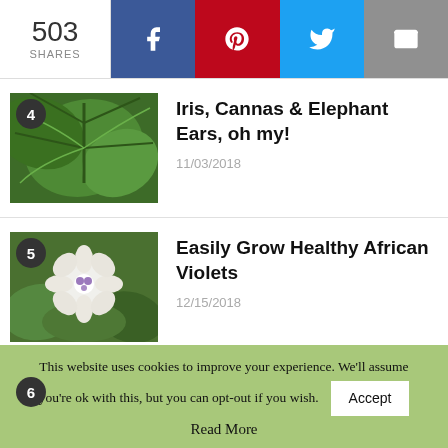503 SHARES
4 Iris, Cannas & Elephant Ears, oh my! 11/03/2018
5 Easily Grow Healthy African Violets 12/15/2018
6 Easy Mild Salsa Recipe
This website uses cookies to improve your experience. We'll assume you're ok with this, but you can opt-out if you wish. Accept Read More